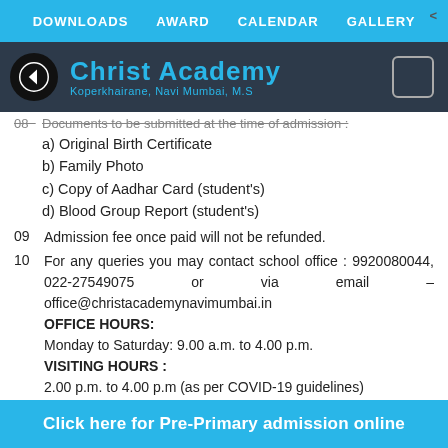DOWNLOADS   AWARD   CALENDAR   GALLERY
[Figure (logo): Christ Academy school logo with back arrow button. Text: Christ Academy, Koperkhairane, Navi Mumbai, M.S]
08  Documents to be submitted at the time of admission:
a) Original Birth Certificate
b) Family Photo
c) Copy of Aadhar Card (student's)
d) Blood Group Report (student's)
09  Admission fee once paid will not be refunded.
10  For any queries you may contact school office : 9920080044, 022-27549075 or via email – office@christacademynavimumbai.in
OFFICE HOURS:
Monday to Saturday: 9.00 a.m. to 4.00 p.m.
VISITING HOURS :
2.00 p.m. to 4.00 p.m (as per COVID-19 guidelines)
Click here for Pre-Primary admission online